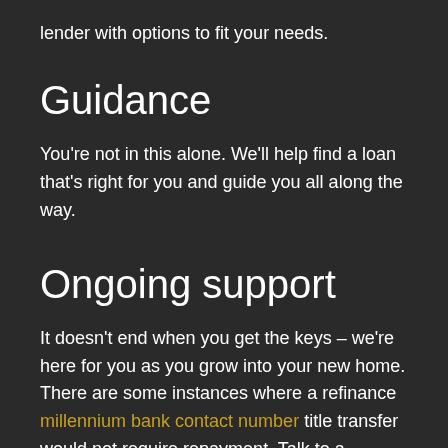lender with options to fit your needs.
Guidance
You're not in this alone. We'll help find a loan that's right for you and guide you all along the way.
Ongoing support
It doesn't end when you get the keys – we're here for you as you grow into your new home. There are some instances where a refinance millennium bank contact number title transfer would not require repayment. Talk to a NeighborhoodLIFT-approved lender to learn more.